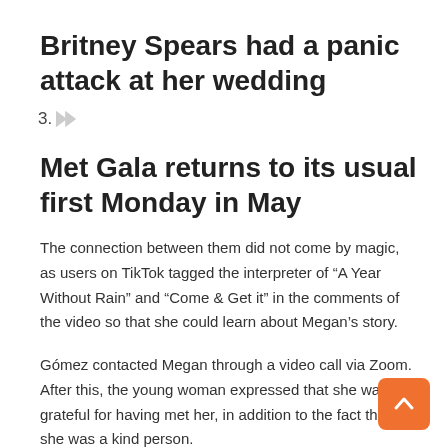Britney Spears had a panic attack at her wedding
3.
Met Gala returns to its usual first Monday in May
The connection between them did not come by magic, as users on TikTok tagged the interpreter of “A Year Without Rain” and “Come & Get it” in the comments of the video so that she could learn about Megan’s story.
Gómez contacted Megan through a video call via Zoom. After this, the young woman expressed that she was grateful for having met her, in addition to the fact that she was a kind person.
The influencer Megan Nespliak uploaded a photo of the virtual